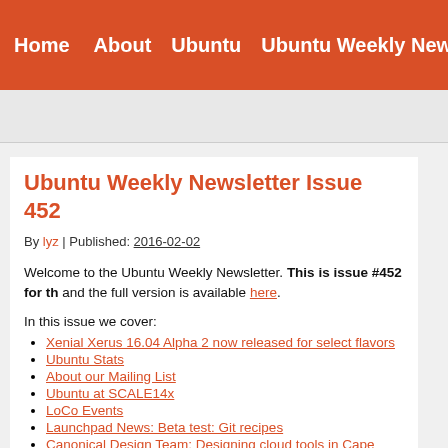Home | About | Ubuntu | Ubuntu Weekly Newsletter | Planet U…
Ubuntu Weekly Newsletter Issue 452
By lyz | Published: 2016-02-02
Welcome to the Ubuntu Weekly Newsletter. This is issue #452 for th… and the full version is available here.
In this issue we cover:
Xenial Xerus 16.04 Alpha 2 now released for select flavors
Ubuntu Stats
About our Mailing List
Ubuntu at SCALE14x
LoCo Events
Launchpad News: Beta test: Git recipes
Canonical Design Team: Designing cloud tools in Cape Town
Lubuntu Blog: Resistance is futile!
Dustin Kirkland: adapt install [anything]
Kubuntu: Plasma 5.5.3 and Frameworks 5.18.0 Backported to Kubu…